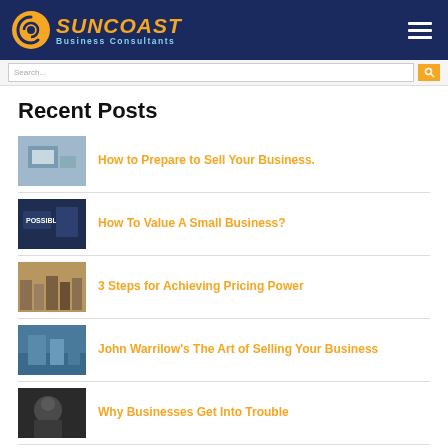Suncoast Business Consultants
Recent Posts
How to Prepare to Sell Your Business.
How To Value A Small Business?
3 Steps for Achieving Pricing Power
John Warrilow's The Art of Selling Your Business
Why Businesses Get Into Trouble
Maximizing Your Time by Rating Buyer Seriousness